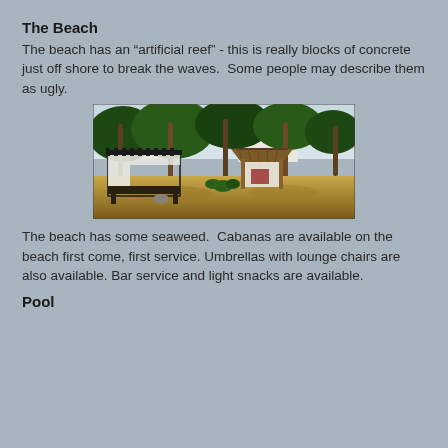The Beach
The beach has an “artificial reef” - this is really blocks of concrete just off shore to break the waves.  Some people may describe them as ugly.
[Figure (photo): Beach cabanas with canopy beds and thatched-roof structures among palm trees on sandy ground]
The beach has some seaweed.  Cabanas are available on the beach first come, first service. Umbrellas with lounge chairs are also available. Bar service and light snacks are available.
Pool